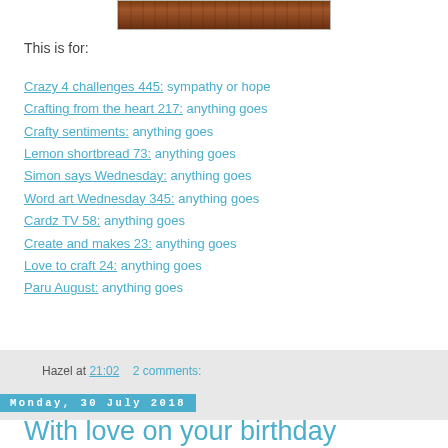[Figure (photo): Partial image of a wooden/craft object visible at top]
This is for:
Crazy 4 challenges 445: sympathy or hope
Crafting from the heart 217: anything goes
Crafty sentiments: anything goes
Lemon shortbread 73: anything goes
Simon says Wednesday: anything goes
Word art Wednesday 345: anything goes
Cardz TV 58: anything goes
Create and makes 23: anything goes
Love to craft 24: anything goes
Paru August: anything goes
Hazel at 21:02    2 comments:
Monday, 30 July 2018
With love on your birthday